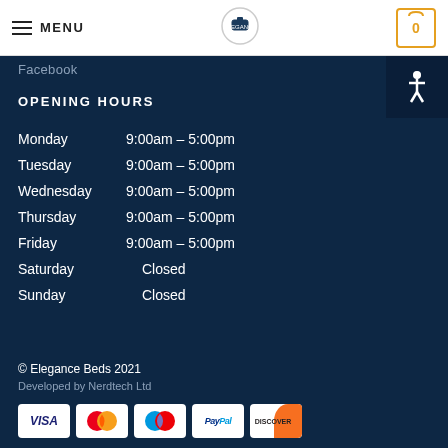MENU | [Logo] | [Cart: 0]
Facebook
OPENING HOURS
| Day | Hours |
| --- | --- |
| Monday | 9:00am – 5:00pm |
| Tuesday | 9:00am – 5:00pm |
| Wednesday | 9:00am – 5:00pm |
| Thursday | 9:00am – 5:00pm |
| Friday | 9:00am – 5:00pm |
| Saturday | Closed |
| Sunday | Closed |
© Elegance Beds 2021
Developed by Nerdtech Ltd
[Figure (other): Payment method icons: Visa, Mastercard, Maestro, PayPal, Discover]